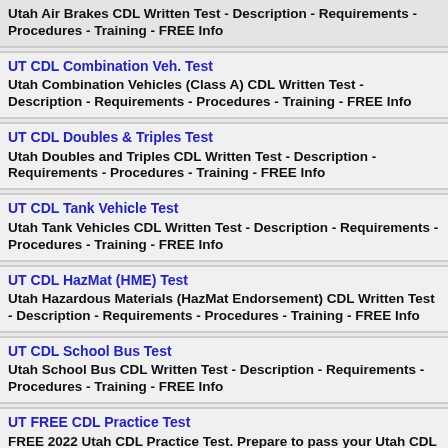Utah Air Brakes CDL Written Test - Description - Requirements - Procedures - Training - FREE Info
UT CDL Combination Veh. Test
Utah Combination Vehicles (Class A) CDL Written Test - Description - Requirements - Procedures - Training - FREE Info
UT CDL Doubles & Triples Test
Utah Doubles and Triples CDL Written Test - Description - Requirements - Procedures - Training - FREE Info
UT CDL Tank Vehicle Test
Utah Tank Vehicles CDL Written Test - Description - Requirements - Procedures - Training - FREE Info
UT CDL HazMat (HME) Test
Utah Hazardous Materials (HazMat Endorsement) CDL Written Test - Description - Requirements - Procedures - Training - FREE Info
UT CDL School Bus Test
Utah School Bus CDL Written Test - Description - Requirements - Procedures - Training - FREE Info
UT FREE CDL Practice Test
FREE 2022 Utah CDL Practice Test. Prepare to pass your Utah CDL Permit written tests.